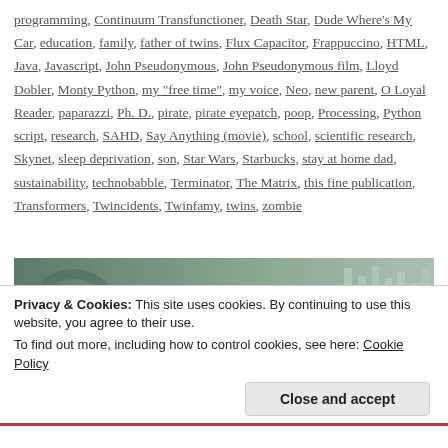programming, Continuum Transfunctioner, Death Star, Dude Where's My Car, education, family, father of twins, Flux Capacitor, Frappuccino, HTML, Java, Javascript, John Pseudonymous, John Pseudonymous film, Lloyd Dobler, Monty Python, my "free time", my voice, Neo, new parent, O Loyal Reader, paparazzi, Ph. D., pirate, pirate eyepatch, poop, Processing, Python script, research, SAHD, Say Anything (movie), school, scientific research, Skynet, sleep deprivation, son, Star Wars, Starbucks, stay at home dad, sustainability, technobabble, Terminator, The Matrix, this fine publication, Transformers, Twincidents, Twinfamy, twins, zombie
[Figure (photo): A person reaching out with one hand against a blurred green/grey background, resembling a movie still possibly from The Matrix.]
Privacy & Cookies: This site uses cookies. By continuing to use this website, you agree to their use.
To find out more, including how to control cookies, see here: Cookie Policy
Close and accept